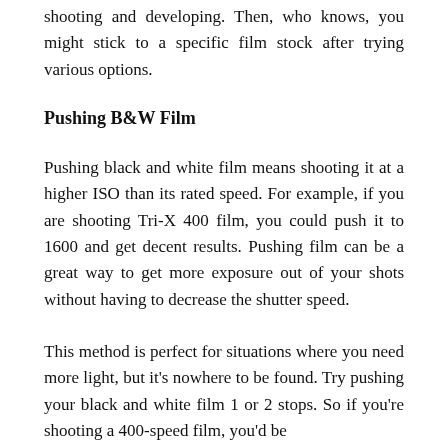shooting and developing. Then, who knows, you might stick to a specific film stock after trying various options.
Pushing B&W Film
Pushing black and white film means shooting it at a higher ISO than its rated speed. For example, if you are shooting Tri-X 400 film, you could push it to 1600 and get decent results. Pushing film can be a great way to get more exposure out of your shots without having to decrease the shutter speed.
This method is perfect for situations where you need more light, but it’s nowhere to be found. Try pushing your black and white film 1 or 2 stops. So if you’re shooting a 400-speed film, you’d be